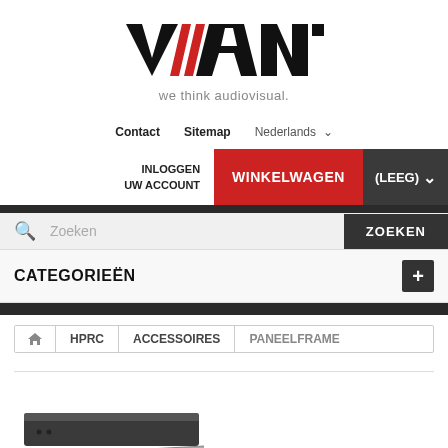[Figure (logo): VIANTO logo with red diagonal slashes in the letter A, black text, above tagline 'we think audiovisual.']
we think audiovisual.
Contact  Sitemap  Nederlands ▾
INLOGGEN UW ACCOUNT  WINKELWAGEN  (LEEG) ▾
Zoeken  ZOEKEN
CATEGORIEËN
🏠  HPRC  ACCESSOIRES  PANEELFRAME
[Figure (photo): Partial photo of a dark electronic device/panel at the bottom of the page]